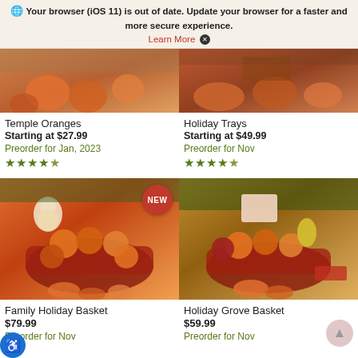Your browser (iOS 11) is out of date. Update your browser for a faster and more secure experience. Learn More ✕
[Figure (photo): Partial product image of Temple Oranges at top left]
[Figure (photo): Partial product image of Holiday Trays at top right]
Temple Oranges
Starting at $27.99
Preorder for Jan, 2023
★★★★½
Holiday Trays
Starting at $49.99
Preorder for Nov
★★★★½
[Figure (photo): Family Holiday Basket product image with NEW badge — red basket filled with oranges, snowman cookies, holiday treats]
[Figure (photo): Holiday Grove Basket product image — red basket filled with oranges, pears, apples, and treats]
Family Holiday Basket
$79.99
Preorder for Nov
Holiday Grove Basket
$59.99
Preorder for Nov